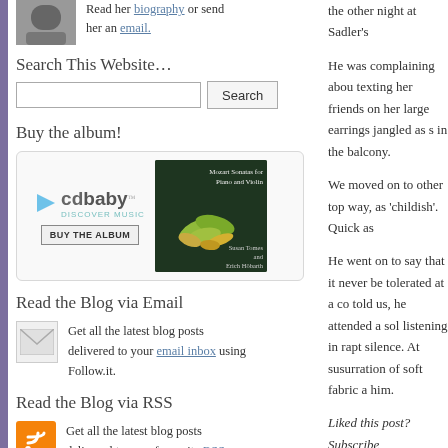Read her biography or send her an email.
Search This Website…
Buy the album!
[Figure (other): CD Baby album purchase widget showing cdbaby logo with 'BUY THE ALBUM' button and album cover for Mozart Sonatas for Piano and Violin by Susan Tomes and Erich Hobarth]
Read the Blog via Email
Get all the latest blog posts delivered to your email inbox using Follow.it.
Read the Blog via RSS
Get all the latest blog posts delivered to your favourite RSS
He was complaining about a woman sitting near him texting her friends on her mobile phone, whose large earrings jangled as she moved. She was in the balcony.
We moved on to other topics. He described this way, as 'childish'. Quick as
He went on to say that it would never be tolerated at a concert, he told us, he attended a soloist listening in rapt silence. At susurration of soft fabric a him.
Liked this post? Subscribe
This entry was posted on Wedn leave a response, or trackback